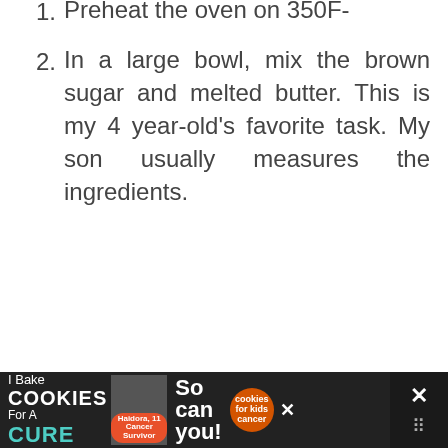1. Preheat the oven on 350F-
2. In a large bowl, mix the brown sugar and melted butter. This is my 4 year-old's favorite task. My son usually measures the ingredients.
3. Add the egg, one by one and mix well. Younger kids can handle this task pretty well. Don't be afraid!
[Figure (screenshot): Website UI sidebar with a heart/like button (orange circle with heart icon), like count of 1, and a share button]
[Figure (screenshot): Advertisement banner at bottom: 'I Bake COOKIES For A CURE' with photo of woman, 'So can you!' text and cookies for kids cancer logo, with close X button]